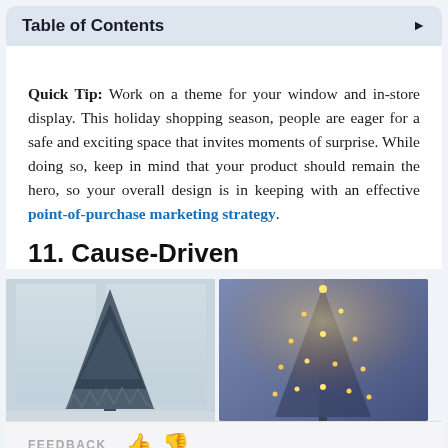Table of Contents
Quick Tip: Work on a theme for your window and in-store display. This holiday shopping season, people are eager for a safe and exciting space that invites moments of surprise. While doing so, keep in mind that your product should remain the hero, so your overall design is in keeping with an effective point-of-purchase marketing strategy.
11. Cause-Driven
[Figure (photo): Two side-by-side photos of decorative Christmas trees displayed indoors near large windows. Left: a dark blue/teal origami-style tree. Right: a glowing golden light tree.]
FEEDBACK